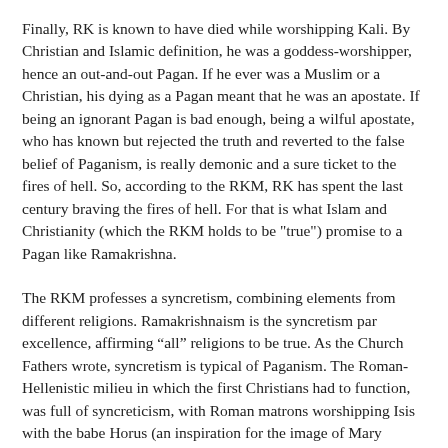Finally, RK is known to have died while worshipping Kali. By Christian and Islamic definition, he was a goddess-worshipper, hence an out-and-out Pagan. If he ever was a Muslim or a Christian, his dying as a Pagan meant that he was an apostate. If being an ignorant Pagan is bad enough, being a wilful apostate, who has known but rejected the truth and reverted to the false belief of Paganism, is really demonic and a sure ticket to the fires of hell. So, according to the RKM, RK has spent the last century braving the fires of hell. For that is what Islam and Christianity (which the RKM holds to be "true") promise to a Pagan like Ramakrishna.
The RKM professes a syncretism, combining elements from different religions. Ramakrishnaism is the syncretism par excellence, affirming “all” religions to be true. As the Church Fathers wrote, syncretism is typical of Paganism. The Roman-Hellenistic milieu in which the first Christians had to function, was full of syncreticism, with Roman matrons worshipping Isis with the babe Horus (an inspiration for the image of Mary holding the babe Jesus), legion soldiers worshipping Persian-originated